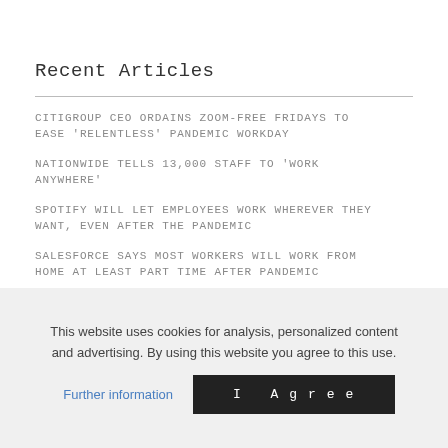Recent Articles
CITIGROUP CEO ORDAINS ZOOM-FREE FRIDAYS TO EASE 'RELENTLESS' PANDEMIC WORKDAY
NATIONWIDE TELLS 13,000 STAFF TO 'WORK ANYWHERE'
SPOTIFY WILL LET EMPLOYEES WORK WHEREVER THEY WANT, EVEN AFTER THE PANDEMIC
SALESFORCE SAYS MOST WORKERS WILL WORK FROM HOME AT LEAST PART TIME AFTER PANDEMIC
RYDER TO PAY EMPLOYEES TO GET COVID-19 VACCINATION
This website uses cookies for analysis, personalized content and advertising. By using this website you agree to this use.
Further information
I Agree